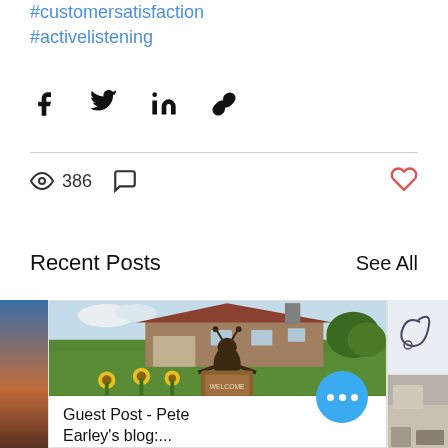#customersatisfaction
#activelistening
[Figure (infographic): Social share icons: Facebook, Twitter, LinkedIn, link/chain icon]
386 views, comment icon, heart/like icon
Recent Posts
See All
[Figure (photo): Left partial image: blue and orange gradient (partial blog post image)]
[Figure (photo): Center blog post image: outdoor scene with a bear/ant statue holding a welcome sign surrounded by sunflowers in front of a ranch-style house]
Guest Post - Pete Earley's blog:...
[Figure (photo): Right partial images: top shows a hand-drawn curl/hook illustration, bottom shows an indoor room scene]